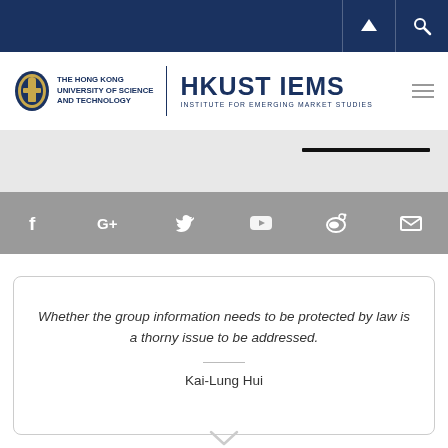[Figure (logo): HKUST IEMS - The Hong Kong University of Science and Technology, Institute for Emerging Market Studies logo with crest]
[Figure (infographic): Social media icons bar: Facebook, Google+, Twitter, YouTube, Weibo, Email on gray background]
Whether the group information needs to be protected by law is a thorny issue to be addressed.
Kai-Lung Hui